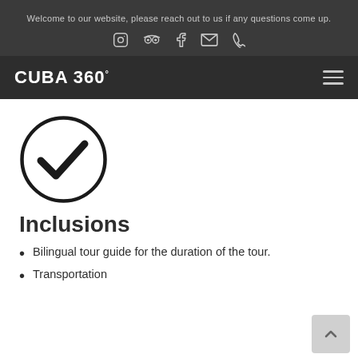Welcome to our website, please reach out to us if any questions come up.
[Figure (logo): Cuba 360 degrees logo with hamburger menu icon on dark navigation bar]
[Figure (illustration): Large circle with a bold checkmark inside]
Inclusions
Bilingual tour guide for the duration of the tour.
Transportation